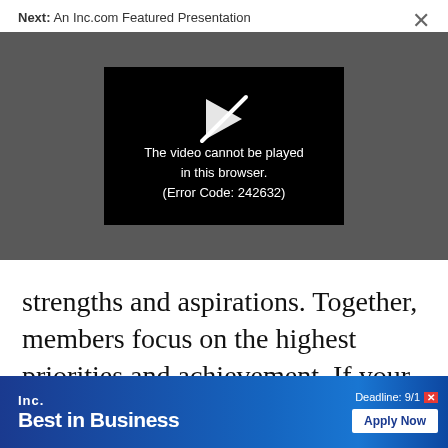Next: An Inc.com Featured Presentation
[Figure (screenshot): Video player showing error message: 'The video cannot be played in this browser. (Error Code: 242632)' on dark grey background with a crossed-out play icon]
strengths and aspirations. Together, members focus on the highest priorities and achievement. If your team is lacking this drive
[Figure (infographic): Advertisement banner for Inc. Best in Business with 'Apply Now' button and 'Deadline: 9/1' text]